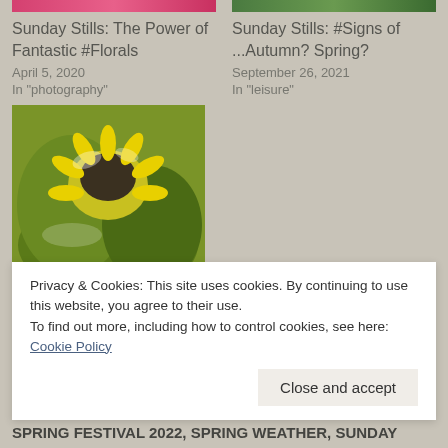[Figure (photo): Cropped red/pink floral image at top left]
Sunday Stills: The Power of Fantastic #Florals
April 5, 2020
In "photography"
[Figure (photo): Cropped green foliage image at top right]
Sunday Stills: #Signs of ...Autumn? Spring?
September 26, 2021
In "leisure"
[Figure (photo): Close-up of a yellow sunflower with dark seed center, green leaves, partially emerged]
Sunday Stills: #Emerging from...?
May 1, 2022
Privacy & Cookies: This site uses cookies. By continuing to use this website, you agree to their use.
To find out more, including how to control cookies, see here: Cookie Policy
Close and accept
SPRING FESTIVAL 2022, SPRING WEATHER, SUNDAY